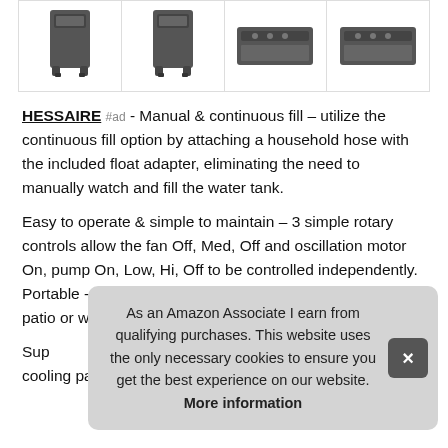[Figure (photo): Four product images of evaporative air coolers in a row: two front-facing tall coolers (dark grey) and two top-view coolers (dark grey)]
HESSAIRE #ad - Manual & continuous fill – utilize the continuous fill option by attaching a household hose with the included float adapter, eliminating the need to manually watch and fill the water tank.
Easy to operate & simple to maintain – 3 simple rotary controls allow the fan Off, Med, Off and oscillation motor On, pump On, Low, Hi, Off to be controlled independently. Portable - 4 heavy duty locking casters for cooling home, patio or workshop spaces up to 950 square feet.
As an Amazon Associate I earn from qualifying purchases. This website uses the only necessary cookies to ensure you get the best experience on our website. More information
Sup cooling pads for increased evaporative surface area